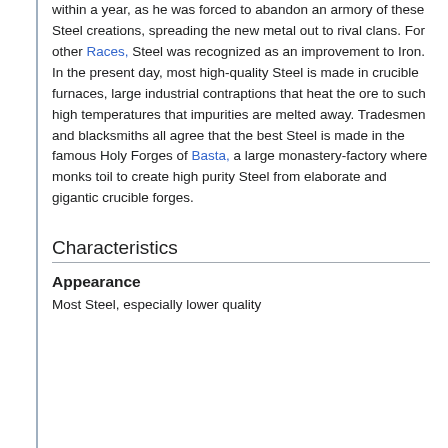within a year, as he was forced to abandon an armory of these Steel creations, spreading the new metal out to rival clans. For other Races, Steel was recognized as an improvement to Iron. In the present day, most high-quality Steel is made in crucible furnaces, large industrial contraptions that heat the ore to such high temperatures that impurities are melted away. Tradesmen and blacksmiths all agree that the best Steel is made in the famous Holy Forges of Basta, a large monastery-factory where monks toil to create high purity Steel from elaborate and gigantic crucible forges.
Characteristics
Appearance
Most Steel, especially lower quality...